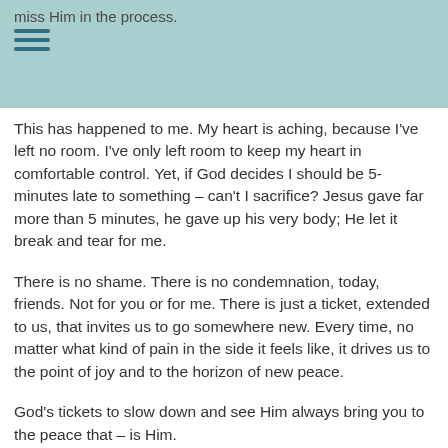miss Him in the process.
This has happened to me. My heart is aching, because I've left no room. I've only left room to keep my heart in comfortable control. Yet, if God decides I should be 5-minutes late to something – can't I sacrifice? Jesus gave far more than 5 minutes, he gave up his very body; He let it break and tear for me.
There is no shame. There is no condemnation, today, friends. Not for you or for me. There is just a ticket, extended to us, that invites us to go somewhere new. Every time, no matter what kind of pain in the side it feels like, it drives us to the point of joy and to the horizon of new peace.
God's tickets to slow down and see Him always bring you to the peace that – is Him.